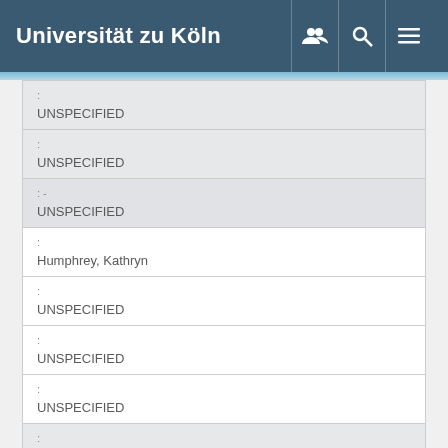Universität zu Köln
| : |
| --- |
| UNSPECIFIED |
| : |
| UNSPECIFIED |
| :- |
| UNSPECIFIED |
| : |
| Humphrey, Kathryn |
| : |
| UNSPECIFIED |
| : |
| UNSPECIFIED |
| : |
| UNSPECIFIED |
| : |